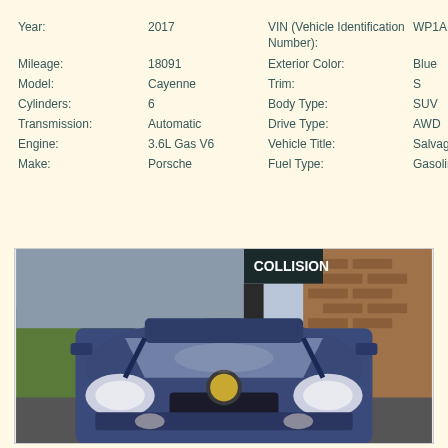| Year: | 2017 | VIN (Vehicle Identification Number): | WP1AB2A22HLA52152 |
| Mileage: | 18091 | Exterior Color: | Blue |
| Model: | Cayenne | Trim: | S |
| Cylinders: | 6 | Body Type: | SUV |
| Transmission: | Automatic | Drive Type: | AWD |
| Engine: | 3.6L Gas V6 | Vehicle Title: | Salvage |
| Make: | Porsche | Fuel Type: | Gasoline |
[Figure (photo): Front view of a blue Porsche Cayenne SUV parked in front of a collision repair shop. The vehicle has a dark blue/navy color. A brick building with a 'COLLISION' sign is visible in the background along with trees and vegetation.]